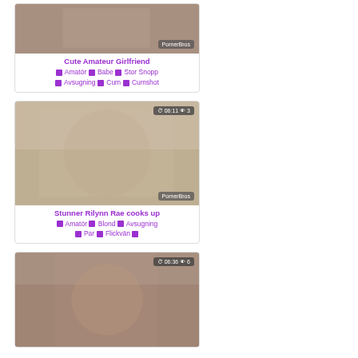[Figure (screenshot): Video thumbnail for Cute Amateur Girlfriend with PornerBros watermark]
Cute Amateur Girlfriend
🏷 Amatör 🏷 Babe 🏷 Stor Snopp 🏷 Avsugning 🏷 Cum 🏷 Cumshot
[Figure (screenshot): Video thumbnail for Stunner Rilynn Rae cooks up with PornerBros watermark, duration 06:11, views 3]
Stunner Rilynn Rae cooks up
🏷 Amatör 🏷 Blond 🏷 Avsugning 🏷 Par 🏷 Flickvän 🏷
[Figure (screenshot): Video thumbnail, duration 06:36, views 6]